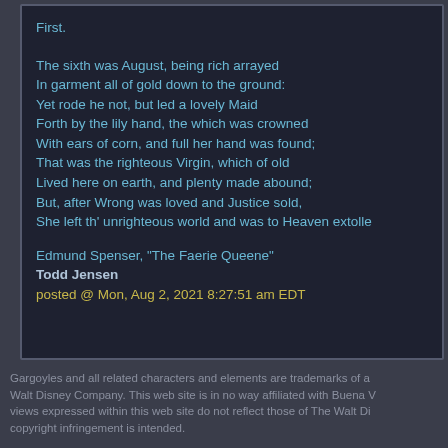First.
The sixth was August, being rich arrayed
In garment all of gold down to the ground:
Yet rode he not, but led a lovely Maid
Forth by the lily hand, the which was crowned
With ears of corn, and full her hand was found;
That was the righteous Virgin, which of old
Lived here on earth, and plenty made abound;
But, after Wrong was loved and Justice sold,
She left th' unrighteous world and was to Heaven extolle
Edmund Spenser, "The Faerie Queene"
Todd Jensen
posted @ Mon, Aug 2, 2021 8:27:51 am EDT
Gargoyles and all related characters and elements are trademarks of a Walt Disney Company. This web site is in no way affiliated with Buena V views expressed within this web site do not reflect those of The Walt Di copyright infringement is intended.